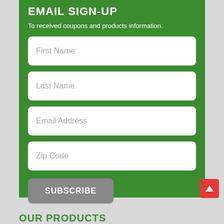EMAIL SIGN-UP
To received coupons and products information.
[Figure (screenshot): Email sign-up form with four input fields: First Name, Last Name, Email Address, Zip Code, and a Subscribe button]
OUR PRODUCTS